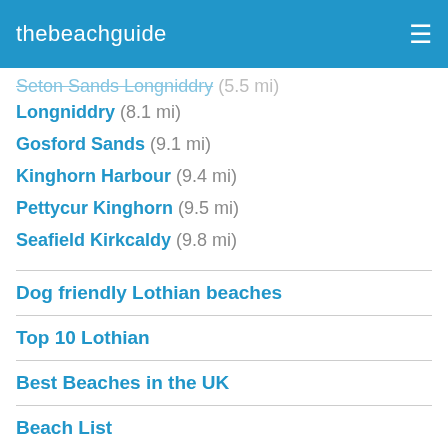thebeachguide
Seton Sands Longniddry (5.5 mi)
Longniddry (8.1 mi)
Gosford Sands (9.1 mi)
Kinghorn Harbour (9.4 mi)
Pettycur Kinghorn (9.5 mi)
Seafield Kirkcaldy (9.8 mi)
Dog friendly Lothian beaches
Top 10 Lothian
Best Beaches in the UK
Beach List
Beaches Near Me
UK Sea Temperature